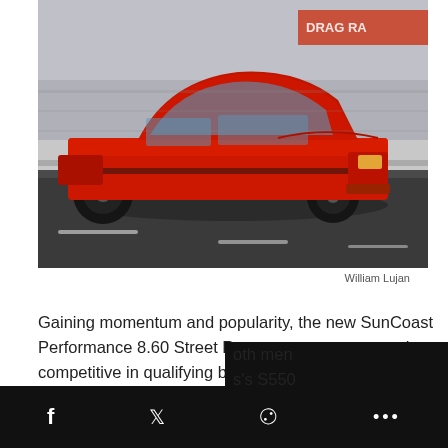[Figure (photo): Red Fox-body Ford Mustang (circa 1990) racing on a drag strip at speed, motion blur on background, drag racing track markings visible, DRAG RACE banner partially visible in background]
William Lujan
Gaining momentum and popularity, the new SunCoast Performance 8.60 Street Race group was extremely competitive in qualifying but it was William Lujan once again sitting in the top spot courtesy of his Vortech supercharged 1990 Mustang’s 8.616-second trip. Joining Lujan in the finals was the number six qualified driver, Terry “Beefcake” Reeves in his twin turbocharged …oth men …s’s S550